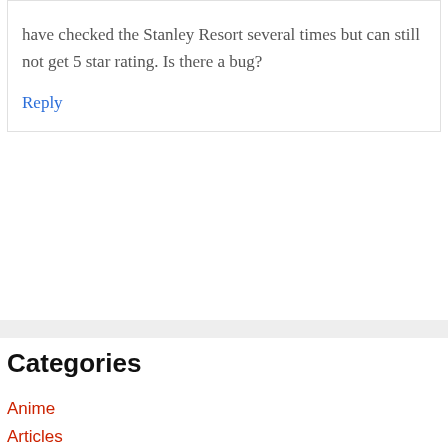have checked the Stanley Resort several times but can still not get 5 star rating. Is there a bug?
Reply
Categories
Anime
Articles